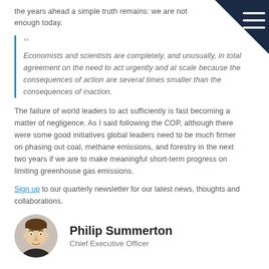the years ahead a simple truth remains: we are not doing enough today.
Economists and scientists are completely, and unusually, in total agreement on the need to act urgently and at scale because the consequences of action are several times smaller than the consequences of inaction.
The failure of world leaders to act sufficiently is fast becoming a matter of negligence. As I said following the COP, although there were some good initiatives global leaders need to be much firmer on phasing out coal, methane emissions, and forestry in the next two years if we are to make meaningful short-term progress on limiting greenhouse gas emissions.
Sign up to our quarterly newsletter for our latest news, thoughts and collaborations.
[Figure (photo): Headshot photo of Philip Summerton, a man in business attire, circular crop]
Philip Summerton
Chief Executive Officer